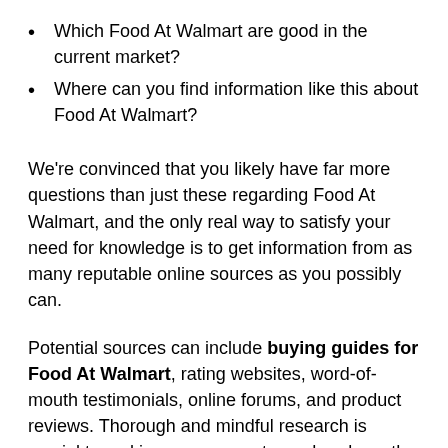Which Food At Walmart are good in the current market?
Where can you find information like this about Food At Walmart?
We're convinced that you likely have far more questions than just these regarding Food At Walmart, and the only real way to satisfy your need for knowledge is to get information from as many reputable online sources as you possibly can.
Potential sources can include buying guides for Food At Walmart, rating websites, word-of-mouth testimonials, online forums, and product reviews. Thorough and mindful research is crucial to making sure you get your hands on the best possible Food At Walmart. Make sure that you are only using trustworthy and credible websites and sources.